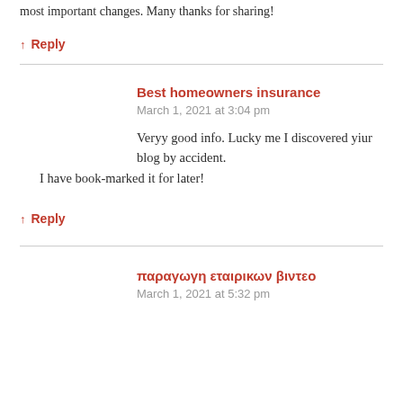most important changes. Many thanks for sharing!
↑  Reply
Best homeowners insurance
March 1, 2021 at 3:04 pm
Veryy good info. Lucky me I discovered yiur blog by accident. I have book-marked it for later!
↑  Reply
παραγωγη εταιρικων βιντεο
March 1, 2021 at 5:32 pm